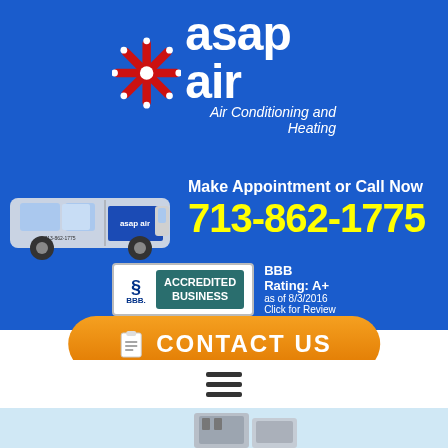[Figure (logo): ASAP Air logo with red snowflake/asterisk symbol and white text reading 'asap air' with tagline 'Air Conditioning and Heating' on blue background]
[Figure (photo): ASAP Air branded service van (white Ford Transit with blue and yellow graphics)]
Make Appointment or Call Now
713-862-1775
[Figure (logo): BBB Accredited Business badge with teal background showing 'ACCREDITED BUSINESS' text and BBB logo, plus 'BBB Rating: A+ as of 8/3/2016 Click for Review']
BBB Rating: A+
as of 8/3/2016
Click for Review
[Figure (other): Orange rounded button with clipboard icon and text CONTACT US]
[Figure (other): Hamburger menu icon (three horizontal lines)]
[Figure (photo): HVAC outdoor/indoor unit equipment at bottom of page, partially visible]